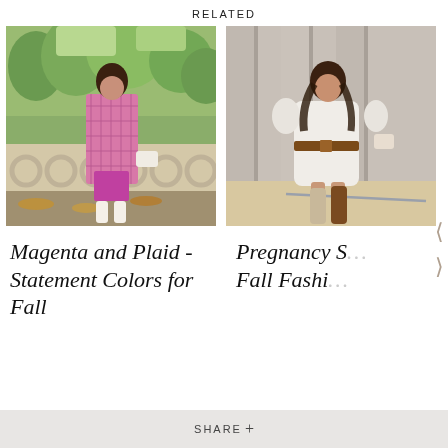RELATED
[Figure (photo): Woman in pink plaid coat over magenta dress with white boots, standing outdoors in autumn park setting]
Magenta and Plaid - Statement Colors for Fall
[Figure (photo): Pregnant woman in white oversized sweater dress with brown belt and tall brown boots, standing against concrete columns]
Pregnancy S... Fall Fashi...
SHARE +